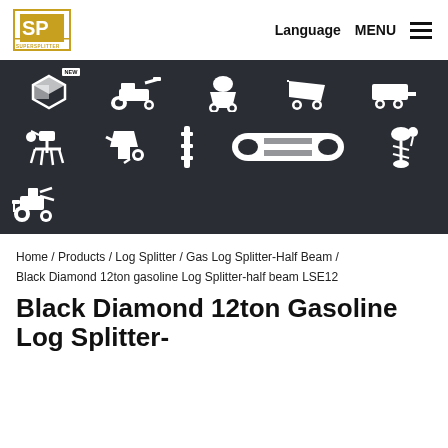Language  MENU
[Figure (illustration): Dark banner showing white silhouette icons of various outdoor power equipment: box with NEW badge, log splitter, spreader, garden cart, trailer, tiller, chipper/shredder, post driver, log splitter cylinder, auger, snow blower]
Home / Products / Log Splitter / Gas Log Splitter-Half Beam / Black Diamond 12ton gasoline Log Splitter-half beam LSE12
Black Diamond 12ton Gasoline Log Splitter-